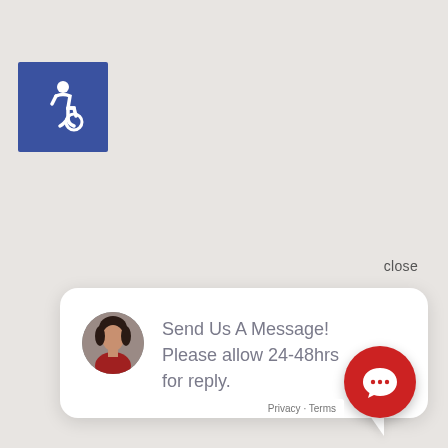[Figure (logo): Blue square with white wheelchair accessibility icon (ISA symbol)]
close
[Figure (infographic): Chat bubble popup with avatar photo of a woman and text: Send Us A Message! Please allow 24-48hrs for reply.]
Send Us A Message! Please allow 24-48hrs for reply.
[Figure (logo): Red circular chat button with speech bubble icon]
Privacy - Terms